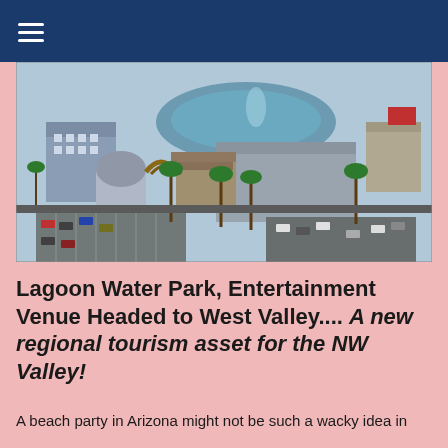[Figure (illustration): Aerial 3D rendering of a lagoon water park and entertainment venue complex showing buildings, a large water feature, parking lots with cars, palm trees, and surrounding infrastructure.]
Lagoon Water Park, Entertainment Venue Headed to West Valley.... A new regional tourism asset for the NW Valley!
A beach party in Arizona might not be such a wacky idea in